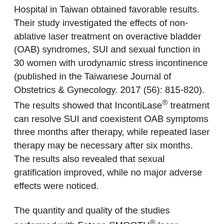Hospital in Taiwan obtained favorable results. Their study investigated the effects of non-ablative laser treatment on overactive bladder (OAB) syndromes, SUI and sexual function in 30 women with urodynamic stress incontinence (published in the Taiwanese Journal of Obstetrics & Gynecology. 2017 (56): 815-820). The results showed that IncontiLase® treatment can resolve SUI and coexistent OAB symptoms three months after therapy, while repeated laser therapy may be necessary after six months. The results also revealed that sexual gratification improved, while no major adverse effects were noticed.
The quantity and quality of the studies performed with Fotona SMOOTH® laser therapy is such that Fotona's Dynamis has been cleared in the European Union for SUI (IncontiLase®), vaginal laxity – vaginal relaxation syndrome (IntimaLase®), genitourinary syndrome of menopause – GSM (RenovaLase®) and pelvic organ prolapse (ProlapLase®), giving women the option to choose a safer and less-invasive treatment